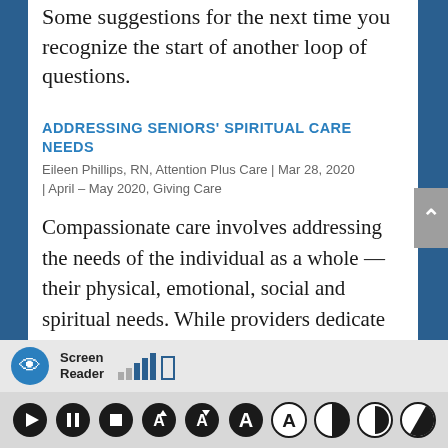Some suggestions for the next time you recognize the start of another loop of questions.
ADDRESSING SENIORS' SPIRITUAL CARE NEEDS
Eileen Phillips, RN, Attention Plus Care | Mar 28, 2020 | April – May 2020, Giving Care
Compassionate care involves addressing the needs of the individual as a whole — their physical, emotional, social and spiritual needs. While providers dedicate themselves to managing the physical symptoms of aging and disease, seniors may experience other pain as well, on a mental and spiritual level. Why is this happening to me? What will happen when I